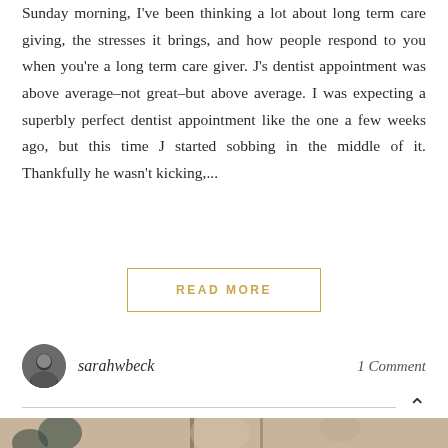Sunday morning, I've been thinking a lot about long term care giving, the stresses it brings, and how people respond to you when you're a long term care giver. J's dentist appointment was above average–not great–but above average. I was expecting a superbly perfect dentist appointment like the one a few weeks ago, but this time J started sobbing in the middle of it. Thankfully he wasn't kicking,...
READ MORE
sarahwbeck
1 Comment
[Figure (photo): Partial photo visible at the bottom of the page showing a person in front of artwork with abstract dark shapes on a light background]